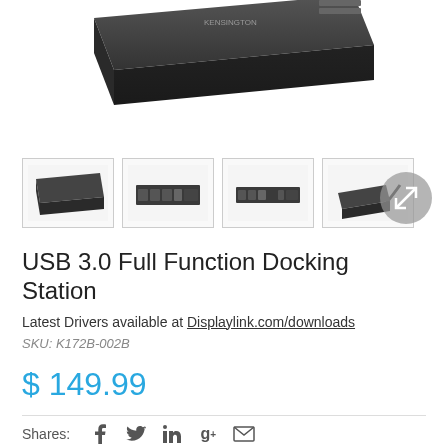[Figure (photo): USB 3.0 docking station product shot from above-front angle, black device on white background]
[Figure (photo): Four thumbnail images of the USB 3.0 docking station from different angles]
USB 3.0 Full Function Docking Station
Latest Drivers available at Displaylink.com/downloads
SKU: K172B-002B
$ 149.99
Shares: